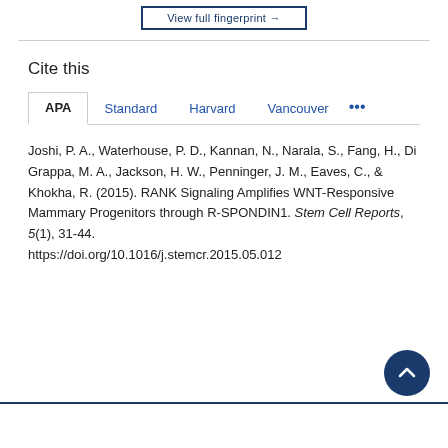[Figure (screenshot): View full fingerprint button with dark blue border]
Cite this
APA   Standard   Harvard   Vancouver   •••
Joshi, P. A., Waterhouse, P. D., Kannan, N., Narala, S., Fang, H., Di Grappa, M. A., Jackson, H. W., Penninger, J. M., Eaves, C., & Khokha, R. (2015). RANK Signaling Amplifies WNT-Responsive Mammary Progenitors through R-SPONDIN1. Stem Cell Reports, 5(1), 31-44. https://doi.org/10.1016/j.stemcr.2015.05.012